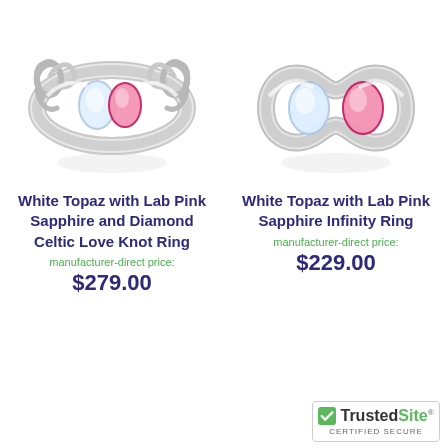[Figure (photo): Silver Celtic Love Knot ring with white topaz and pink sapphire stones, shown from above with reflection]
White Topaz with Lab Pink Sapphire and Diamond Celtic Love Knot Ring
manufacturer-direct price:
$279.00
[Figure (photo): Silver Infinity ring with white topaz and lab pink sapphire stones, shown from above with reflection]
White Topaz with Lab Pink Sapphire Infinity Ring
manufacturer-direct price:
$229.00
[Figure (logo): TrustedSite Certified Secure badge with green checkmark]